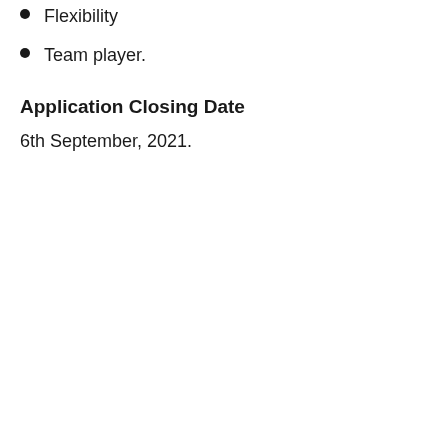Flexibility
Team player.
Application Closing Date
6th September, 2021.